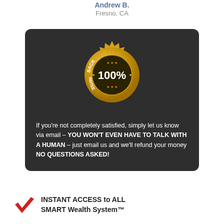Andrew B.
Fresno, CA
[Figure (infographic): Dark rounded rectangle containing a gold 100% Money Back Guarantee badge/seal on top, and text below: 'If you're not completely satisfied, simply let us know via email – YOU WON'T EVEN HAVE TO TALK WITH A HUMAN – just email us and we'll refund your money NO QUESTIONS ASKED!']
INSTANT ACCESS to ALL SMART Wealth System™